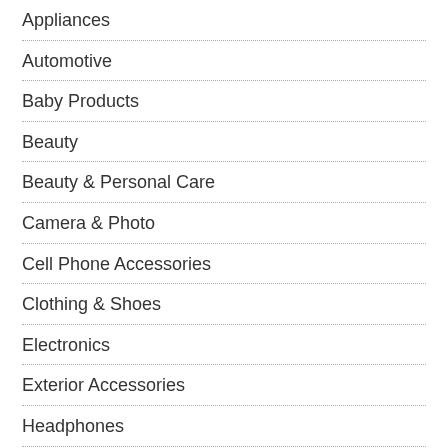Appliances
Automotive
Baby Products
Beauty
Beauty & Personal Care
Camera & Photo
Cell Phone Accessories
Clothing & Shoes
Electronics
Exterior Accessories
Headphones